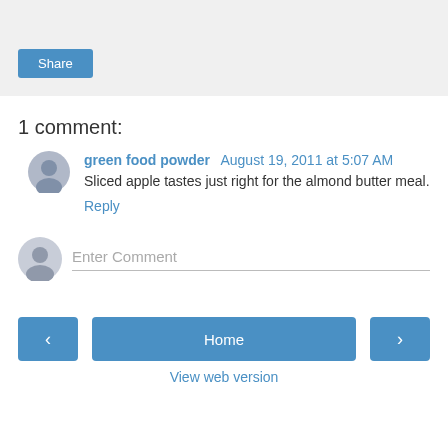[Figure (screenshot): Gray share bar with a blue Share button in the bottom-left]
1 comment:
green food powder  August 19, 2011 at 5:07 AM
Sliced apple tastes just right for the almond butter meal.
Reply
[Figure (other): Enter Comment input field with user avatar icon]
[Figure (other): Navigation bar with left arrow button, Home button, and right arrow button]
View web version